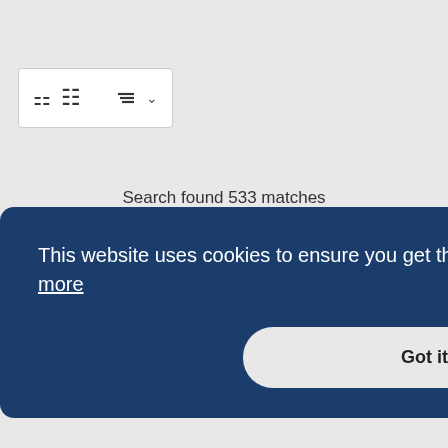[Figure (screenshot): Sort/filter button with list icon and dropdown arrow]
Search found 533 matches
[Figure (screenshot): Pagination controls showing share icon, pages 1 (active), 2, 3, 4, 5, ..., 11, and next arrow]
[Figure (screenshot): Jump to dropdown button]
This website uses cookies to ensure you get the best experience on our website. Learn more
[Figure (screenshot): Got it! button for cookie consent]